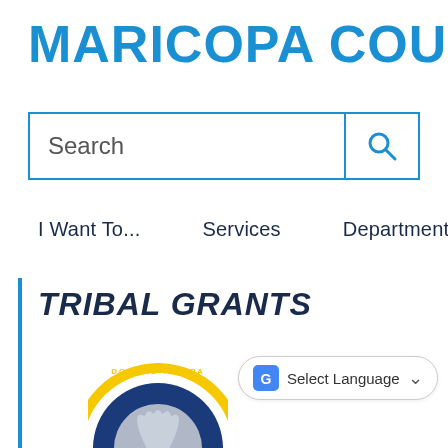MARICOPA COUNTY
[Figure (screenshot): Search bar with blue border and magnifying glass icon]
I Want To...    Services    Departments
TRIBAL GRANTS
[Figure (logo): McDowell Yavapai tribal seal/logo, circular yellow and blue emblem, partially visible]
[Figure (screenshot): Select Language dropdown widget with Google Translate icon]